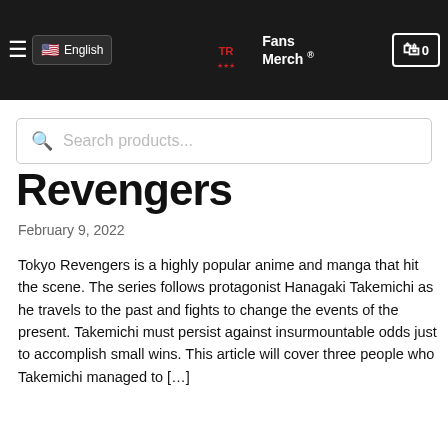English | Tokyo Revengers Fans Merch | 0
[Figure (screenshot): Website navigation bar with hamburger menu, English language selector with US flag, Tokyo Revengers Fans Merch logo, and cart icon showing 0]
[Figure (screenshot): Search products input field with magnifying glass icon]
Revengers
February 9, 2022
Tokyo Revengers is a highly popular anime and manga that hit the scene. The series follows protagonist Hanagaki Takemichi as he travels to the past and fights to change the events of the present. Takemichi must persist against insurmountable odds just to accomplish small wins. This article will cover three people who Takemichi managed to […]